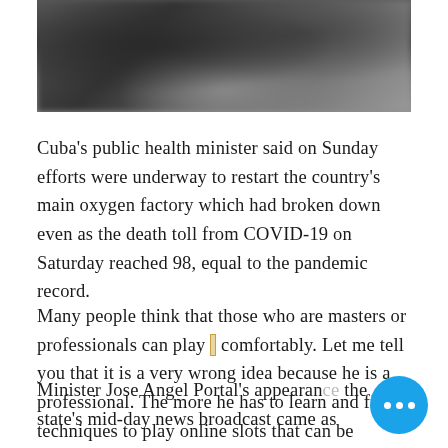[Figure (photo): A blurred/dark photograph at the top of the page showing an indistinct scene]
Cuba's public health minister said on Sunday efforts were underway to restart the country's main oxygen factory which had broken down even as the death toll from COVID-19 on Saturday reached 98, equal to the pandemic record.
Many people think that those who are masters or professionals can play [link] comfortably. Let me tell you that it is a very wrong idea because he is a professional. The more he has to learn and find techniques to play online slots that can be effective all the time. Because otherwise the word professional means nothing.
Minister Jose Angel Portal's appearance the state's mid-day news broadcast came as